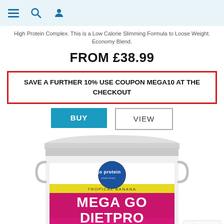Navigation icons: hamburger menu, search, user profile
High Protein Complex. This is a Low Calorie Slimming Formula to Loose Weight. Economy Blend.
FROM £38.99
SAVE A FURTHER 10% USE COUPON MEGA10 AT THE CHECKOUT
BUY   VIEW
[Figure (photo): A large white bucket/tub of 'Mega Go DietPro High Protein Complex' by Go Protein Nutrition. Flavour: Tropical Banana. 28g Protein, weight 4kg, 100 scoops. Pink and white label with yellow stripe.]